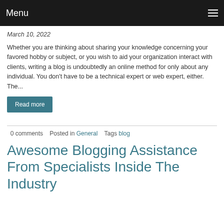Menu
March 10, 2022
Whether you are thinking about sharing your knowledge concerning your favored hobby or subject, or you wish to aid your organization interact with clients, writing a blog is undoubtedly an online method for only about any individual. You don't have to be a technical expert or web expert, either. The...
Read more
0 comments   Posted in General   Tags blog
Awesome Blogging Assistance From Specialists Inside The Industry